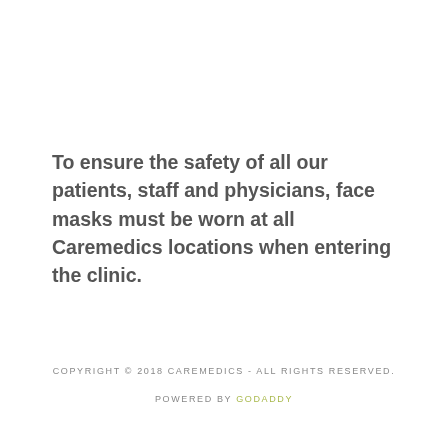To ensure the safety of all our patients, staff and physicians, face masks must be worn at all Caremedics locations when entering the clinic.
COPYRIGHT © 2018 CAREMEDICS - ALL RIGHTS RESERVED.
POWERED BY GODADDY